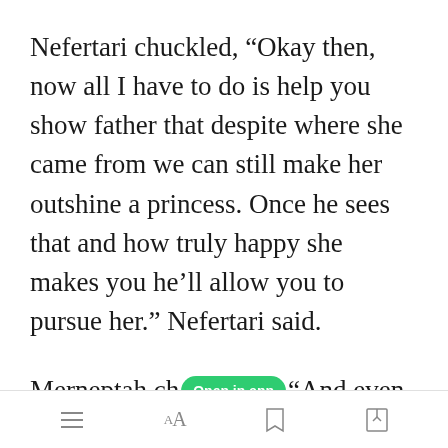Nefertari chuckled, “Okay then, now all I have to do is help you show father that despite where she came from we can still make her outshine a princess. Once he sees that and how truly happy she makes you he’ll allow you to pursue her.” Nefertari said.
Merneptah chuckled, “And even if he doesn’t I will anyway.”
[Figure (screenshot): Open in app green badge overlay on text]